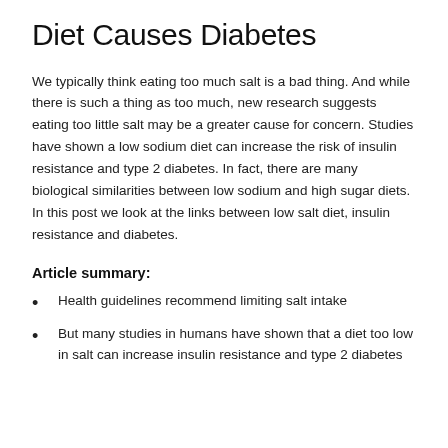Diet Causes Diabetes
We typically think eating too much salt is a bad thing. And while there is such a thing as too much, new research suggests eating too little salt may be a greater cause for concern. Studies have shown a low sodium diet can increase the risk of insulin resistance and type 2 diabetes. In fact, there are many biological similarities between low sodium and high sugar diets. In this post we look at the links between low salt diet, insulin resistance and diabetes.
Article summary:
Health guidelines recommend limiting salt intake
But many studies in humans have shown that a diet too low in salt can increase insulin resistance and type 2 diabetes